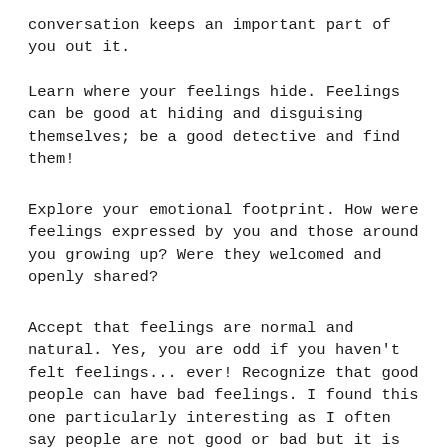conversation keeps an important part of you out it.
Learn where your feelings hide. Feelings can be good at hiding and disguising themselves; be a good detective and find them!
Explore your emotional footprint. How were feelings expressed by you and those around you growing up? Were they welcomed and openly shared?
Accept that feelings are normal and natural. Yes, you are odd if you haven't felt feelings... ever! Recognize that good people can have bad feelings. I found this one particularly interesting as I often say people are not good or bad but it is their actions which are good and bad. They describe it as, for example, the assumption that good people